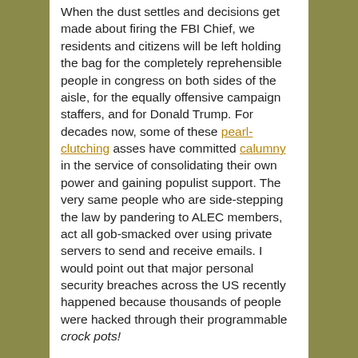When the dust settles and decisions get made about firing the FBI Chief, we residents and citizens will be left holding the bag for the completely reprehensible people in congress on both sides of the aisle, for the equally offensive campaign staffers, and for Donald Trump. For decades now, some of these pearl-clutching asses have committed calumny in the service of consolidating their own power and gaining populist support. The very same people who are side-stepping the law by pandering to ALEC members, act all gob-smacked over using private servers to send and receive emails. I would point out that major personal security breaches across the US recently happened because thousands of people were hacked through their programmable crock pots!
The sanctimonious twits on Fox, in the